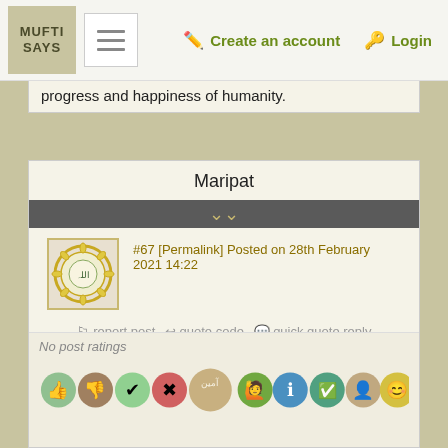MUFTI SAYS | [menu] | Create an account | Login
progress and happiness of humanity.
Maripat
#67 [Permalink] Posted on 28th February 2021 14:22
Kosovo as an independent nation?
report post  quote code  quick quote reply
No post ratings
[Figure (illustration): Row of rating icons: thumbs up, thumbs down, check, X, Ameen, person, info, check, person, smiley face]